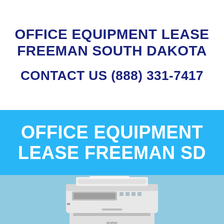OFFICE EQUIPMENT LEASE FREEMAN SOUTH DAKOTA
CONTACT US (888) 331-7417
OFFICE EQUIPMENT LEASE FREEMAN SD
[Figure (photo): Photo of a Brother brand multifunction office printer/copier on a light blue background]